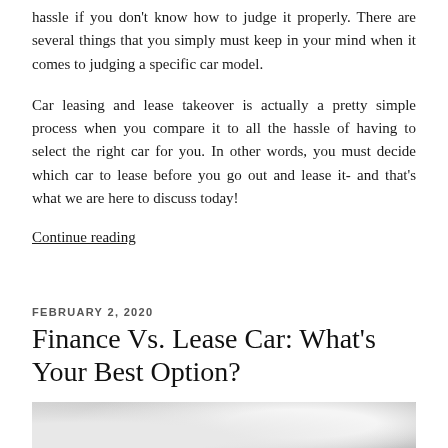hassle if you don't know how to judge it properly. There are several things that you simply must keep in your mind when it comes to judging a specific car model.
Car leasing and lease takeover is actually a pretty simple process when you compare it to all the hassle of having to select the right car for you. In other words, you must decide which car to lease before you go out and lease it- and that's what we are here to discuss today!
Continue reading
FEBRUARY 2, 2020
Finance Vs. Lease Car: What's Your Best Option?
[Figure (photo): Partial view of a white car from the front/side, photographed outdoors on a road]